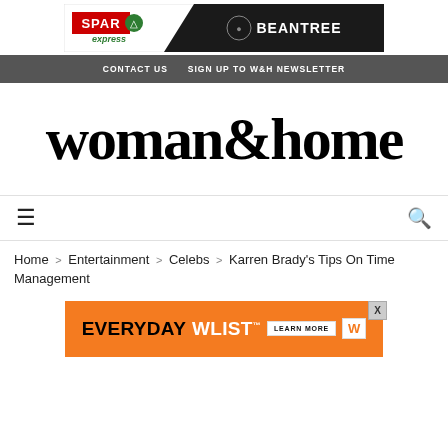[Figure (logo): SPAR Express and BEANTREE advertisement banner]
CONTACT US   SIGN UP TO W&H NEWSLETTER
woman&home
≡  🔍
Home > Entertainment > Celebs > Karren Brady's Tips On Time Management
[Figure (other): EVERYDAY WLIST - LEARN MORE advertisement banner in orange]